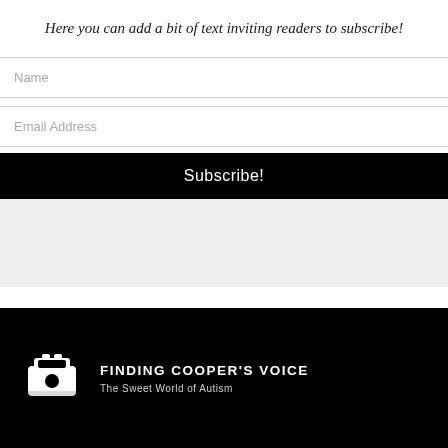Here you can add a bit of text inviting readers to subscribe!
Name
Email Address
Subscribe!
[Figure (logo): Finding Cooper's Voice logo — white train/bus icon on black background with text FINDING COOPER'S VOICE and subtitle below]
FINDING COOPER'S VOICE
The Sweet World of Autism